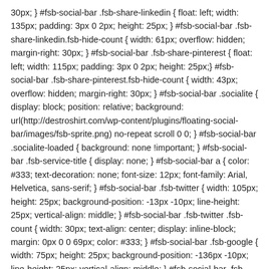30px; } #fsb-social-bar .fsb-share-linkedin { float: left; width: 135px; padding: 3px 0 2px; height: 25px; } #fsb-social-bar .fsb-share-linkedin.fsb-hide-count { width: 61px; overflow: hidden; margin-right: 30px; } #fsb-social-bar .fsb-share-pinterest { float: left; width: 115px; padding: 3px 0 2px; height: 25px;} #fsb-social-bar .fsb-share-pinterest.fsb-hide-count { width: 43px; overflow: hidden; margin-right: 30px; } #fsb-social-bar .socialite { display: block; position: relative; background: url(http://destroshirt.com/wp-content/plugins/floating-social-bar/images/fsb-sprite.png) no-repeat scroll 0 0; } #fsb-social-bar .socialite-loaded { background: none !important; } #fsb-social-bar .fsb-service-title { display: none; } #fsb-social-bar a { color: #333; text-decoration: none; font-size: 12px; font-family: Arial, Helvetica, sans-serif; } #fsb-social-bar .fsb-twitter { width: 105px; height: 25px; background-position: -13px -10px; line-height: 25px; vertical-align: middle; } #fsb-social-bar .fsb-twitter .fsb-count { width: 30px; text-align: center; display: inline-block; margin: 0px 0 0 69px; color: #333; } #fsb-social-bar .fsb-google { width: 75px; height: 25px; background-position: -136px -10px; line-height: 25px; vertical-align: middle; } #fsb-social-bar .fsb-google .fsb-count { width: 30px; text-align: center; display: inline-block; margin: 0px 0 0 41px; color: #333; } #fsb-social-bar .fsb-google .socialite-button { margin: 0 !important; } #fsb-social-